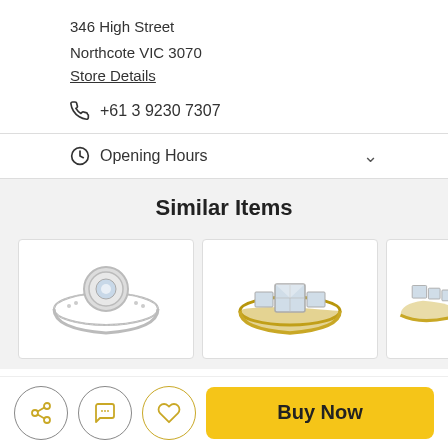346 High Street
Northcote VIC 3070
Store Details
+61 3 9230 7307
Opening Hours
Similar Items
[Figure (photo): Three jewelry product cards showing diamond rings: first a round halo diamond ring in white gold, second a princess-cut diamond ring in yellow gold, third a partial view of a diamond ring in yellow gold.]
Buy Now